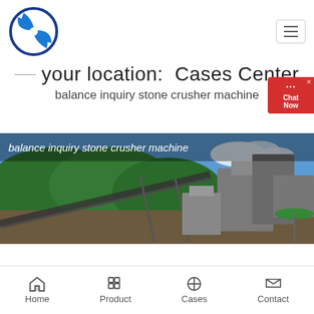[Figure (logo): Blue circular logo with cross/fan blade design]
☰ (hamburger menu button)
your location:  Cases Center
balance inquiry stone crusher machine
[Figure (photo): Outdoor stone crusher plant facility with conveyor belts, machinery, trees and sky in background. Caption overlay: 'balance inquiry stone crusher machine']
Home  Product  Cases  Contact